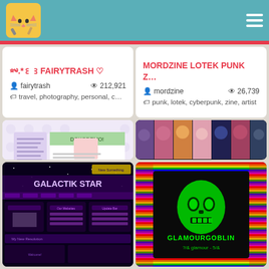Neocities header with logo and hamburger menu
☆༄.*꒰꒱FAIRYTRASH ♡
fairytrash   212,921
travel, photography, personal, c…
MORDZINE LOTEK PUNK Z…
mordzine   26,739
punk, lotek, cyberpunk, zine, artist
[Figure (screenshot): Screenshot of DOKODEMO website with anime/kawaii style design]
DOKODEMO - INDEX
dokodemo   2,162,723
music, 90s, personal, videogam…
[Figure (screenshot): Screenshot of ultraviolet website with dark theme and colorful anime artwork header]
υℓтяανισℓєт
sodium-amytal   121,526
personal, fandom, writing, art
[Figure (screenshot): Screenshot of GALACTIK STAR website with dark space background and magenta/purple design]
[Figure (screenshot): Screenshot of GLAMOURSOBLIN website with rainbow pattern background and green neon skull logo]